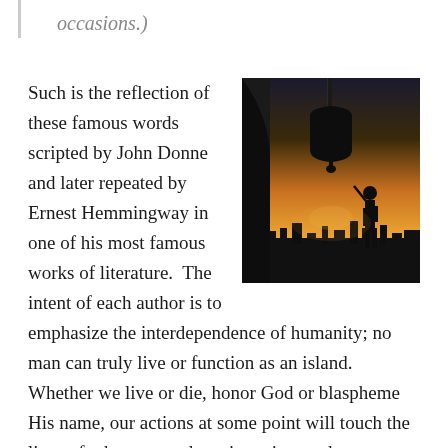occasions.)
[Figure (photo): Silhouette of a large church bell hanging in front of a warm sunset sky, with a person visible in the background and a cityscape below.]
Such is the reflection of these famous words scripted by John Donne and later repeated by Ernest Hemmingway in one of his most famous works of literature.  The intent of each author is to emphasize the interdependence of humanity; no man can truly live or function as an island.  Whether we live or die, honor God or blaspheme His name, our actions at some point will touch the lives of others around us given time and opportunity.
Case in point:  I'll never forget that day in Dominicks, a grocery store in the west suburbs of Chicago, Illinois.  It